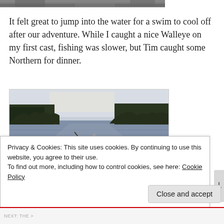[Figure (photo): Partial view of a photo at top of page, cropped, showing a dark/rocky outdoor scene]
It felt great to jump into the water for a swim to cool off after our adventure. While I caught a nice Walleye on my first cast, fishing was slower, but Tim caught some Northern for dinner.
[Figure (photo): Photo of a person in a canoe on a wide river or lake, holding up a fish. Dense boreal forest lines both shores, pale sky at dusk or dawn.]
Privacy & Cookies: This site uses cookies. By continuing to use this website, you agree to their use.
To find out more, including how to control cookies, see here: Cookie Policy
Close and accept